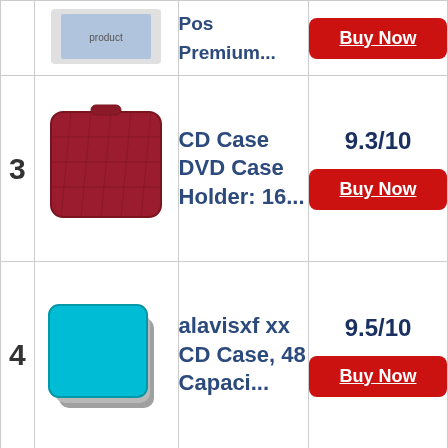| # | Image | Product | Score/Buy |
| --- | --- | --- | --- |
|  |  | Pos Premium... | Buy Now |
| 3 | [red CD case image] | CD Case DVD Case Holder: 16... | 9.3/10 | Buy Now |
| 4 | [blue CD case image] | alavisxf xx CD Case, 48 Capaci... | 9.5/10 | Buy Now |
| 5 | [navy CD case image] | Case Logic EVW-24 EVA Molded ... | 9.6/10 | Buy Now |
|  |  |  |  |